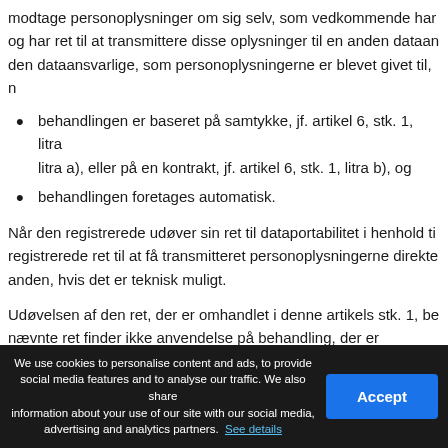modtage personoplysninger om sig selv, som vedkommende har og har ret til at transmittere disse oplysninger til en anden dataan den dataansvarlige, som personoplysningerne er blevet givet til, n
behandlingen er baseret på samtykke, jf. artikel 6, stk. 1, litra litra a), eller på en kontrakt, jf. artikel 6, stk. 1, litra b), og
behandlingen foretages automatisk.
Når den registrerede udøver sin ret til dataportabilitet i henhold ti registrerede ret til at få transmitteret personoplysningerne direkte anden, hvis det er teknisk muligt.
Udøvelsen af den ret, der er omhandlet i denne artikels stk. 1, be nævnte ret finder ikke anvendelse på behandling, der er nødvendi opgave i samfundets interesse eller som henhører under offentlig som den dataansvarlige har fået pålagt.
We use cookies to personalise content and ads, to provide social media features and to analyse our traffic. We also share information about your use of our site with our social media, advertising and analytics partners. See details